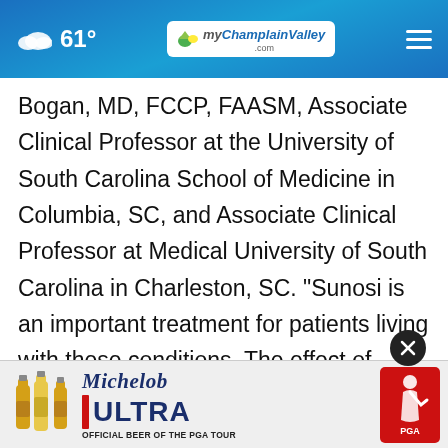61° myChamplainValley.com
Bogan, MD, FCCP, FAASM, Associate Clinical Professor at the University of South Carolina School of Medicine in Columbia, SC, and Associate Clinical Professor at Medical University of South Carolina in Charleston, SC. "Sunosi is an important treatment for patients living with these conditions. The effect of excessive daytime sleepiness on individuals with narcolepsy and obstructive sleep apnea includes functional impairment, reduces quality of life and
[Figure (screenshot): Michelob ULTRA Official Beer of the PGA Tour advertisement banner at the bottom of the page, with beer bottles on left, Michelob Ultra logo in center, and PGA Tour logo badge on right]